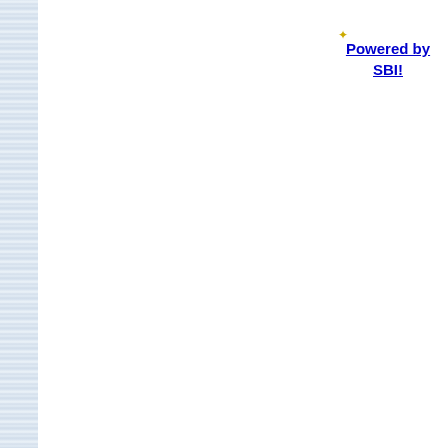[Figure (other): Left sidebar with light blue-grey horizontal striped texture pattern running full height of page]
Powered by SBI!